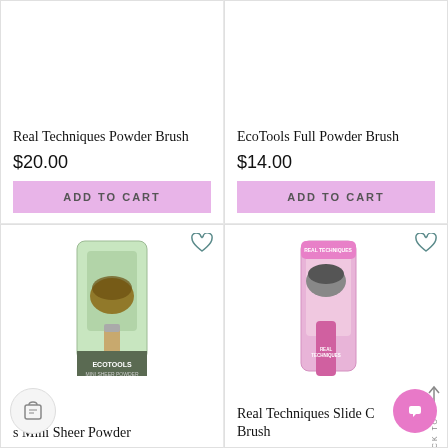Real Techniques Powder Brush
$20.00
ADD TO CART
EcoTools Full Powder Brush
$14.00
ADD TO CART
[Figure (photo): EcoTools Mini Sheer Powder brush in green packaging]
s Mini Sheer Powder
[Figure (photo): Real Techniques Slide C Brush in pink packaging]
Real Techniques Slide C Brush